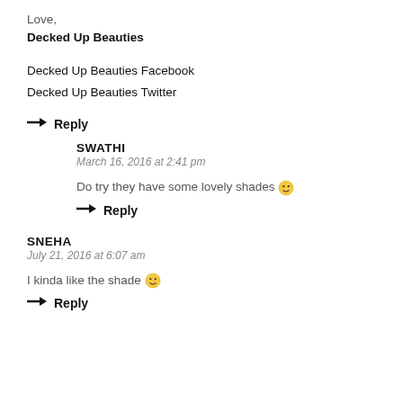Love,
Decked Up Beauties
Decked Up Beauties Facebook
Decked Up Beauties Twitter
→ Reply
SWATHI
March 16, 2016 at 2:41 pm
Do try they have some lovely shades 🙂
→ Reply
SNEHA
July 21, 2016 at 6:07 am
I kinda like the shade 🙂
→ Reply